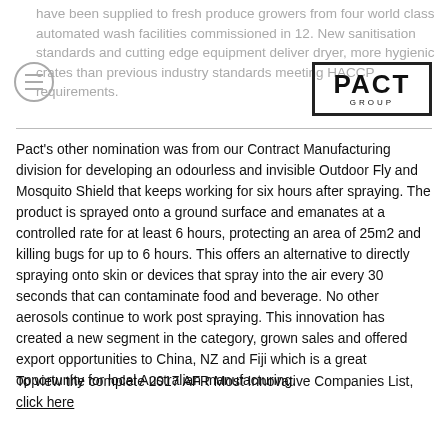have been supplied to fresh produce growers from four world class automated wash facilities commissioned in 12. New sanitisation standards and cutting edge equipment deliver dryer, more hygienic crates than previous industry standards meeting HACCP requirements.
[Figure (logo): Pact Group logo — rectangular border with 'PACT' in large bold letters and 'GROUP' in small spaced letters below, inside a thick-bordered rectangle.]
Pact's other nomination was from our Contract Manufacturing division for developing an odourless and invisible Outdoor Fly and Mosquito Shield that keeps working for six hours after spraying. The product is sprayed onto a ground surface and emanates at a controlled rate for at least 6 hours, protecting an area of 25m2 and killing bugs for up to 6 hours. This offers an alternative to directly spraying onto skin or devices that spray into the air every 30 seconds that can contaminate food and beverage. No other aerosols continue to work post spraying. This innovation has created a new segment in the category, grown sales and offered export opportunities to China, NZ and Fiji which is a great opportunity for local Australian manufacturing.
To view the complete 2017 AFR Most Innovative Companies List, click here